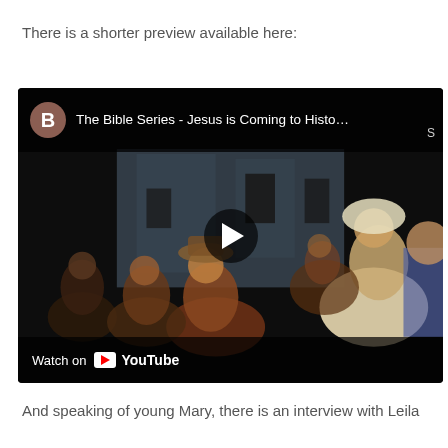There is a shorter preview available here:
[Figure (screenshot): YouTube video embed showing 'The Bible Series - Jesus is Coming to Histo...' with a scene of people in biblical costumes. A play button is in the center. The bottom bar shows 'Watch on YouTube'.]
And speaking of young Mary, there is an interview with Leila